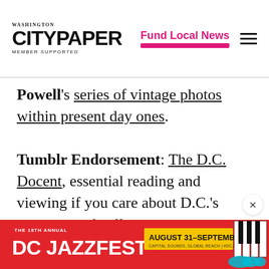Washington City Paper — Member Supported | Fund Local News
Powell's series of vintage photos within present day ones.
Tumblr Endorsement: The D.C. Docent, essential reading and viewing if you care about D.C.'s museum and gallery scenes.
[Figure (infographic): DC Jazzfest advertisement banner: The 18th Annual DC Jazzfest, August 31 – September 4, Capital Sounds, Global Reach | #DCJazzFest, with piano keys graphic]
×